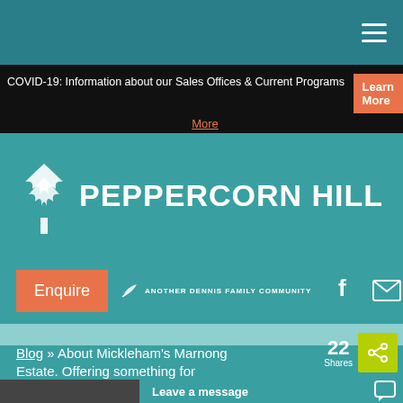Navigation bar with hamburger menu
COVID-19: Information about our Sales Offices & Current Programs   Learn More
[Figure (logo): Peppercorn Hill logo with tree icon and text 'PEPPERCORN HILL']
Enquire   ANOTHER DENNIS FAMILY COMMUNITY
Blog » About Mickleham's Marnong Estate. Offering something for everyone.
22 Shares
Leave a message